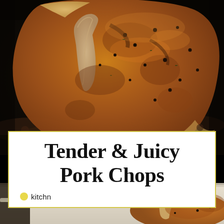[Figure (photo): Close-up overhead photo of a thick bone-in pork chop searing in a dark cast iron skillet, seasoned with black pepper, golden brown crust visible, cooking in oil]
Tender & Juicy
Pork Chops
[Figure (logo): Kitchn brand logo with yellow circle dot followed by the text 'kitchn']
[Figure (photo): Partial view of another pork chop in a pan at the bottom of the image]